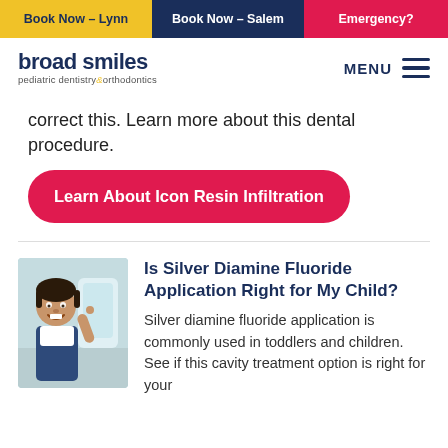Book Now – Lynn | Book Now – Salem | Emergency?
[Figure (logo): Broad Smiles pediatric dentistry & orthodontics logo with menu]
correct this. Learn more about this dental procedure.
Learn About Icon Resin Infiltration
[Figure (photo): Child patient smiling in dental chair]
Is Silver Diamine Fluoride Application Right for My Child?
Silver diamine fluoride application is commonly used in toddlers and children. See if this cavity treatment option is right for your